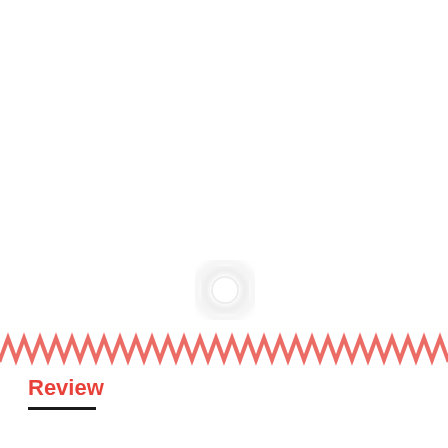[Figure (illustration): A faint circular ring/glow shape centered near the middle of the page, rendered as a soft white circle with a light gray border on a white background]
[Figure (illustration): A horizontal zigzag/chevron border band rendered in coral/salmon red color, spanning the full width of the page]
Review